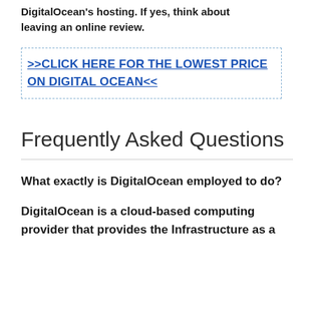DigitalOcean's hosting. If yes, think about leaving an online review.
>>CLICK HERE FOR THE LOWEST PRICE ON DIGITAL OCEAN<<
Frequently Asked Questions
What exactly is DigitalOcean employed to do?
DigitalOcean is a cloud-based computing provider that provides the Infrastructure as a